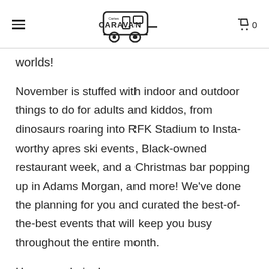CARAVAN | 0
worlds!
November is stuffed with indoor and outdoor things to do for adults and kiddos, from dinosaurs roaring into RFK Stadium to Insta-worthy apres ski events, Black-owned restaurant week, and a Christmas bar popping up in Adams Morgan, and more! We've done the planning for you and curated the best-of-the-best events that will keep you busy throughout the entire month.
Happy exploring!